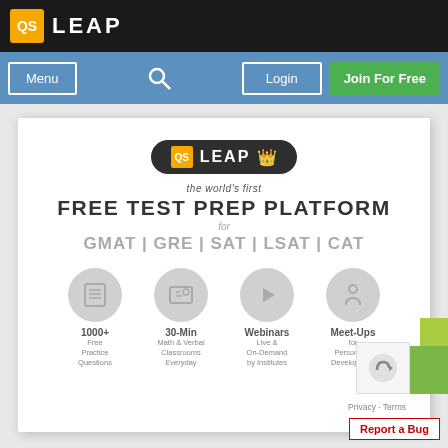[Figure (logo): QS LEAP logo on black navigation bar with orange QS box and white LEAP text]
[Figure (screenshot): Blue navigation bar with Menu button, search icon, Login button, and green Join For Free button]
[Figure (infographic): White card showing QS LEAP branding as the world's first FREE TEST PREP PLATFORM for GMAT | GRE | SAT | LSAT | CAT with four feature icons: 1000+ Free Practice Questions, 30-Min Math & Verbal Classrooms Everyday, Webinars Live & On-Demand by Institutes, Meet-Ups for Personality Development]
Report a Bug
Privacy · Terms